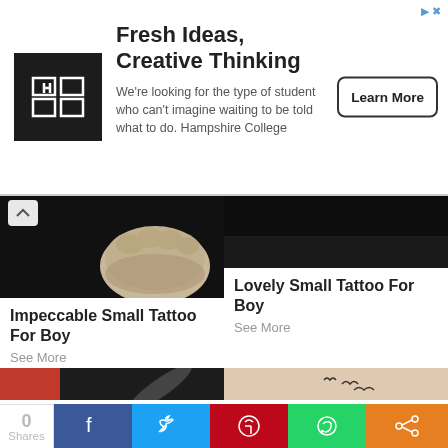[Figure (screenshot): Hampshire College advertisement banner with logo, headline 'Fresh Ideas, Creative Thinking', body text, and Learn More button]
[Figure (photo): Close-up photo of a fist/knuckle tattoo on dark background]
Impeccable Small Tattoo For Boy
See More
[Figure (photo): Dark background tattoo photo - top right panel]
Lovely Small Tattoo For Boy
See More
[Figure (photo): Feather tattoo on arm with red sleeve background]
[Figure (photo): Three small bird silhouette tattoos on collarbone/chest area]
0 Shares